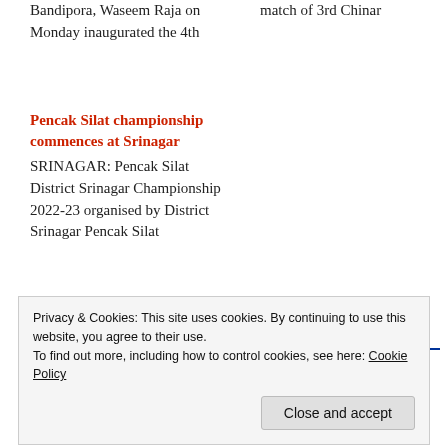Bandipora, Waseem Raja on Monday inaugurated the 4th
match of 3rd Chinar
Pencak Silat championship commences at Srinagar
SRINAGAR: Pencak Silat District Srinagar Championship 2022-23 organised by District Srinagar Pencak Silat
Support free and fair
Privacy & Cookies: This site uses cookies. By continuing to use this website, you agree to their use. To find out more, including how to control cookies, see here: Cookie Policy
Close and accept
financially sound.